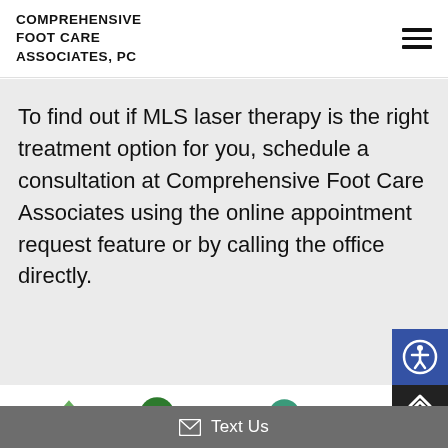COMPREHENSIVE FOOT CARE ASSOCIATES, PC
To find out if MLS laser therapy is the right treatment option for you, schedule a consultation at Comprehensive Foot Care Associates using the online appointment request feature or by calling the office directly.
[Figure (logo): Accessibility icon button (blue square with person in circle)]
[Figure (logo): Scroll-to-top button (dark square with up arrow)]
[Figure (illustration): Partial view of green/teal circular logos at bottom of page]
Text Us